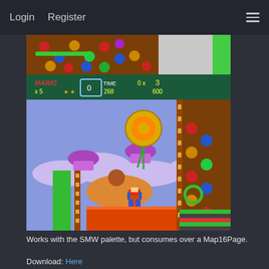Login  Register
[Figure (screenshot): Two stacked video game screenshots. Top: a colorful puzzle/candy game with spheres in brown/lava background with green border on right. Bottom: Super Mario World style game showing Mario standing on an orange platform in a candy/dessert themed level with lollipops, mushroom enemies, purple clouds, and colorful candy background on the right side. HUD shows MARIO x5, TIME 268, 0x3 600.]
Works with the SMW palette, but consumes over a Map16Page.
Download: Here
Now for the other 2 tilesets from Zool. First is from World 2:
[Figure (screenshot): Partial screenshot at bottom of page, cut off]